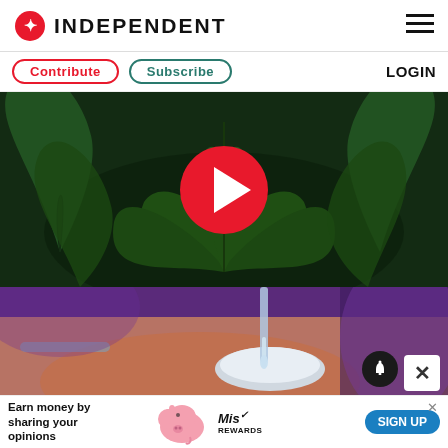INDEPENDENT
Contribute | Subscribe | LOGIN
[Figure (photo): Cannabis plant leaves with red play button overlay — video thumbnail]
[Figure (photo): Close-up of a hand with a glass dropper/pipette dispensing liquid onto a chrome surface, purple background]
[Figure (infographic): Advertisement banner: 'Earn money by sharing your opinions' with pig graphic, Mis Rewards logo, and SIGN UP button]